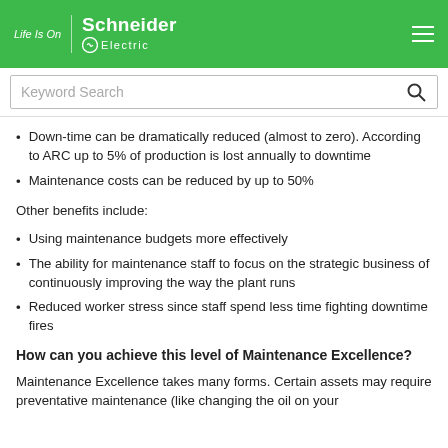Life Is On | Schneider Electric
Down-time can be dramatically reduced (almost to zero). According to ARC up to 5% of production is lost annually to downtime
Maintenance costs can be reduced by up to 50%
Other benefits include:
Using maintenance budgets more effectively
The ability for maintenance staff to focus on the strategic business of continuously improving the way the plant runs
Reduced worker stress since staff spend less time fighting downtime fires
How can you achieve this level of Maintenance Excellence?
Maintenance Excellence takes many forms. Certain assets may require preventative maintenance (like changing the oil on your